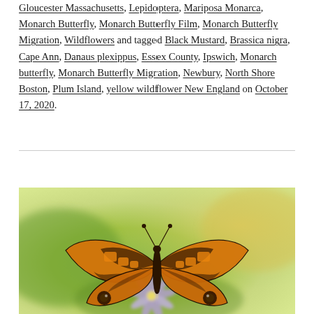Gloucester Massachusetts, Lepidoptera, Mariposa Monarca, Monarch Butterfly, Monarch Butterfly Film, Monarch Butterfly Migration, Wildflowers and tagged Black Mustard, Brassica nigra, Cape Ann, Danaus plexippus, Essex County, Ipswich, Monarch butterfly, Monarch Butterfly Migration, Newbury, North Shore Boston, Plum Island, yellow wildflower New England on October 17, 2020.
[Figure (photo): Close-up photograph of a monarch butterfly (orange and black patterned wings spread open) perched on a purple flower, with a blurred green and yellow background.]